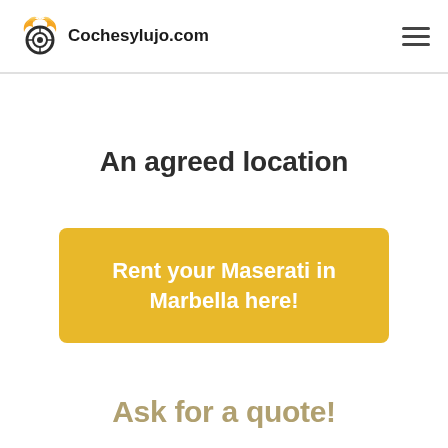Cochesylujo.com
An agreed location
Rent your Maserati in Marbella here!
Ask for a quote!